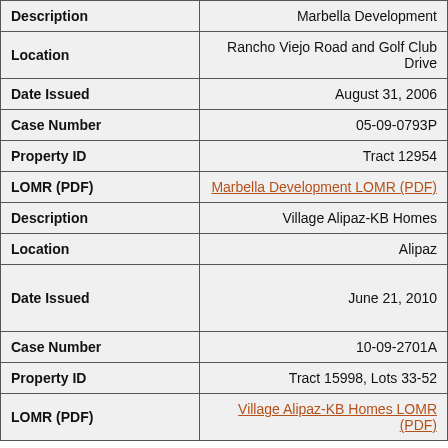| Description | Marbella Development |
| Location | Rancho Viejo Road and Golf Club Drive |
| Date Issued | August 31, 2006 |
| Case Number | 05-09-0793P |
| Property ID | Tract 12954 |
| LOMR (PDF) | Marbella Development LOMR (PDF) |
| Description | Village Alipaz-KB Homes |
| Location | Alipaz |
| Date Issued | June 21, 2010 |
| Case Number | 10-09-2701A |
| Property ID | Tract 15998, Lots 33-52 |
| LOMR (PDF) | Village Alipaz-KB Homes LOMR (PDF) |